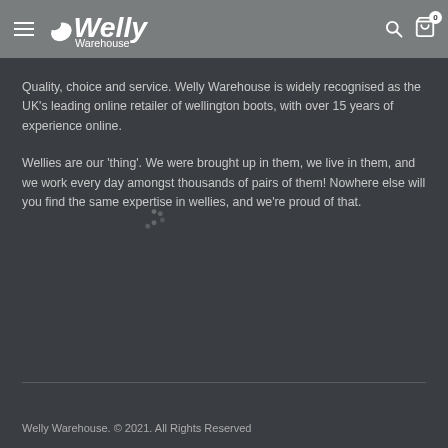Welly Warehouse
Quality, choice and service. Welly Warehouse is widely recognised as the UK's leading online retailer of wellington boots, with over 15 years of experience online.
Wellies are our 'thing'. We were brought up in them, we live in them, and we work every day amongst thousands of pairs of them! Nowhere else will you find the same expertise in wellies, and we're proud of that.
Welly Warehouse. © 2021. All Rights Reserved